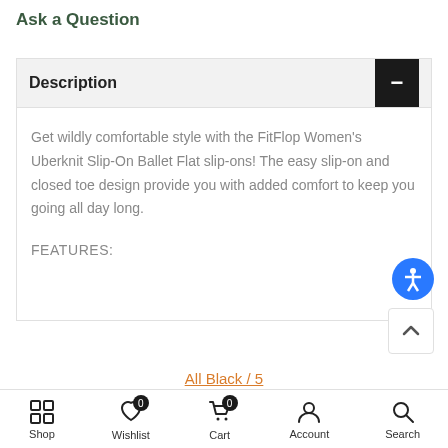Ask a Question
Description
Get wildly comfortable style with the FitFlop Women's Uberknit Slip-On Ballet Flat slip-ons! The easy slip-on and closed toe design provide you with added comfort to keep you going all day long.
FEATURES:
All Black / 5
ADD TO CART
Shop  Wishlist  Cart  Account  Search